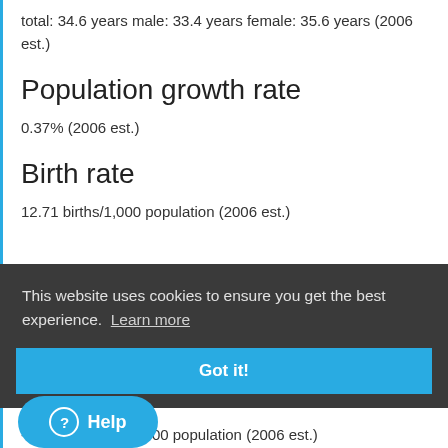total: 34.6 years male: 33.4 years female: 35.6 years (2006 est.)
Population growth rate
0.37% (2006 est.)
Birth rate
12.71 births/1,000 population (2006 est.)
This website uses cookies to ensure you get the best experience. Learn more
-0.31 migrant(s)/1,000 population (2006 est.)